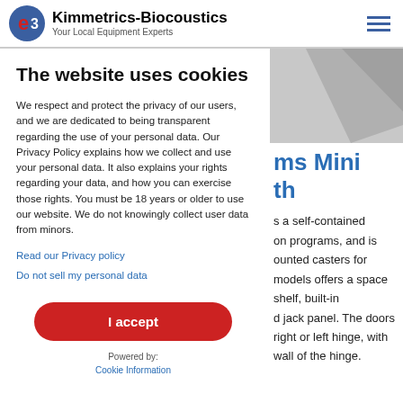Kimmetrics-Biocoustics — Your Local Equipment Experts
The website uses cookies
We respect and protect the privacy of our users, and we are dedicated to being transparent regarding the use of your personal data. Our Privacy Policy explains how we collect and use your personal data. It also explains your rights regarding your data, and how you can exercise those rights. You must be 18 years or older to use our website. We do not knowingly collect user data from minors.
Read our Privacy policy
Do not sell my personal data
I accept
Powered by:
Cookie Information
[Figure (photo): Partially visible product image, gray background, corner of a device visible]
ms Mini th
s a self-contained on programs, and is ounted casters for models offers a space shelf, built-in d jack panel. The doors right or left hinge, with wall of the hinge.